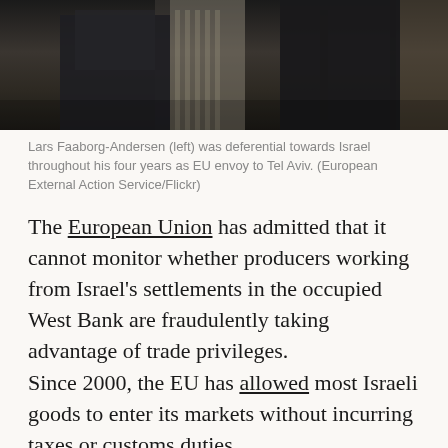[Figure (photo): Photograph showing people at an event, cropped to show upper portion of figures in dark clothing against a blurred background]
Lars Faaborg-Andersen (left) was deferential towards Israel throughout his four years as EU envoy to Tel Aviv. (European External Action Service/Flickr)
The European Union has admitted that it cannot monitor whether producers working from Israel's settlements in the occupied West Bank are fraudulently taking advantage of trade privileges.
Since 2000, the EU has allowed most Israeli goods to enter its markets without incurring taxes or customs duties.
Exports from Israel's settlements in the occupied West Bank and Golan Heights are not eligible for